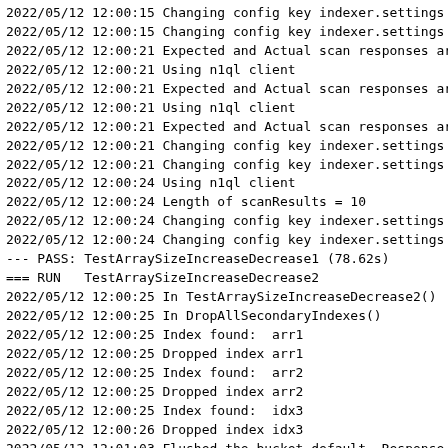2022/05/12 12:00:15 Changing config key indexer.settings
2022/05/12 12:00:15 Changing config key indexer.settings
2022/05/12 12:00:21 Expected and Actual scan responses ar
2022/05/12 12:00:21 Using n1ql client
2022/05/12 12:00:21 Expected and Actual scan responses ar
2022/05/12 12:00:21 Using n1ql client
2022/05/12 12:00:21 Expected and Actual scan responses ar
2022/05/12 12:00:21 Changing config key indexer.settings
2022/05/12 12:00:21 Changing config key indexer.settings
2022/05/12 12:00:24 Using n1ql client
2022/05/12 12:00:24 Length of scanResults = 10
2022/05/12 12:00:24 Changing config key indexer.settings
2022/05/12 12:00:24 Changing config key indexer.settings
--- PASS: TestArraySizeIncreaseDecrease1 (78.62s)
=== RUN   TestArraySizeIncreaseDecrease2
2022/05/12 12:00:25 In TestArraySizeIncreaseDecrease2()
2022/05/12 12:00:25 In DropAllSecondaryIndexes()
2022/05/12 12:00:25 Index found:  arr1
2022/05/12 12:00:25 Dropped index arr1
2022/05/12 12:00:25 Index found:  arr2
2022/05/12 12:00:25 Dropped index arr2
2022/05/12 12:00:25 Index found:  idx3
2022/05/12 12:00:26 Dropped index idx3
2022/05/12 12:01:03 Flushed the bucket default, Response
2022/05/12 12:01:03 Changing config key indexer.settings
2022/05/12 12:01:04 Changing config key indexer.settings
2022/05/12 12:01:04 Changing config key indexer.settings
2022/05/12 12:01:05 Start of createArrayDocs()
2022/05/12 12:01:22 End of createArrayDocs()
2022/05/12 12:01:22 Start of createArrayDocs()